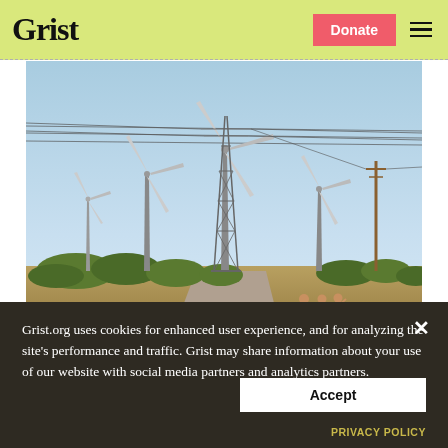Grist
[Figure (photo): Wind turbines and electricity transmission towers in a dry landscape, with women in colorful saris walking on a road in the foreground. India wind farm scene.]
Grist.org uses cookies for enhanced user experience, and for analyzing the site's performance and traffic. Grist may share information about your use of our website with social media partners and analytics partners.